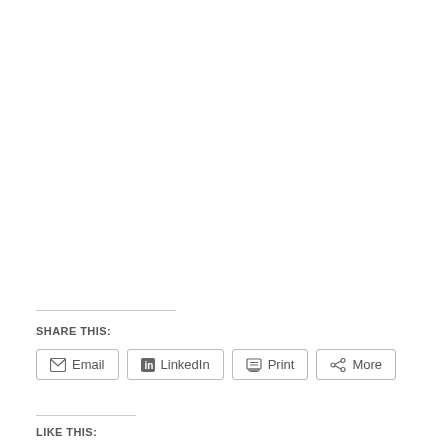SHARE THIS:
Email  LinkedIn  Print  More
LIKE THIS: